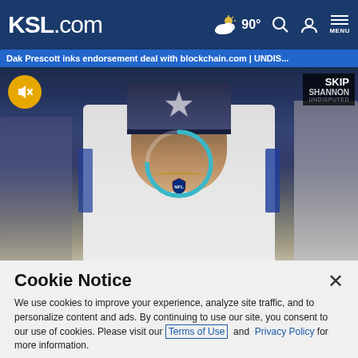KSL.com  90°  MENU
Dak Prescott inks endorsement deal with blockchain.com | UNDIS...
[Figure (screenshot): Video player showing a Dallas Cowboys football player (Dak Prescott) in white Cowboys jersey and Dallas Cowboys cap with a star. A mute button (yellow circle with speaker icon) is visible in top-left. SKIP and SHANNON UNDISPUTED watermark is in top-right. A teal loading spinner arc is overlaid in the center of the video.]
Cookie Notice
We use cookies to improve your experience, analyze site traffic, and to personalize content and ads. By continuing to use our site, you consent to our use of cookies. Please visit our Terms of Use and  Privacy Policy for more information.
Continue